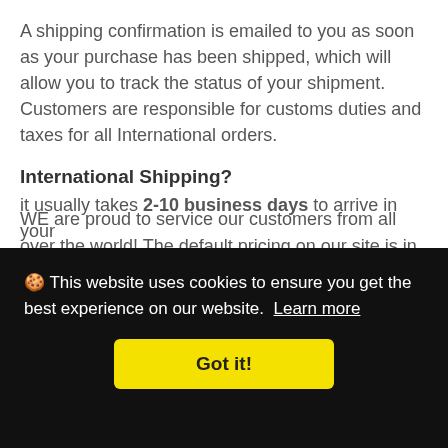A shipping confirmation is emailed to you as soon as your purchase has been shipped, which will allow you to track the status of your shipment. Customers are responsible for customs duties and taxes for all International orders.
International Shipping?
WE are proud to service our customers from all over the world! The default pricing on our site is in USD, the conversion rate depends on your issuing credit card
[Figure (screenshot): Cookie consent banner overlay with black background. Text reads: 'This website uses cookies to ensure you get the best experience on our website. Learn more' with a yellow 'Got it!' button.]
it usually takes 2-10 business days to arrive in your